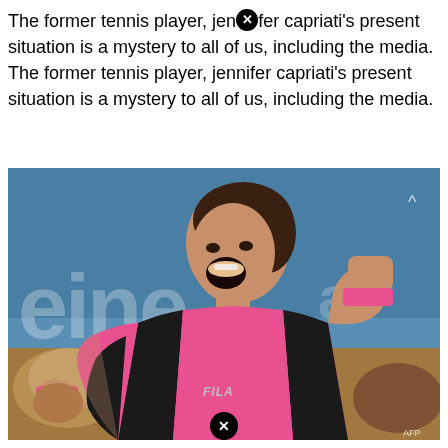The former tennis player, jennifer capriati's present situation is a mystery to all of us, including the media. The former tennis player, jennifer capriati's present situation is a mystery to all of us, including the media.
[Figure (photo): A female tennis player wearing a pink and black Fila sleeveless shirt, celebrating with a raised fist and open mouth. Background shows a blue court with white text 'eine'. She has dark hair pulled back and wears a necklace. Pink wristband visible on left wrist.]